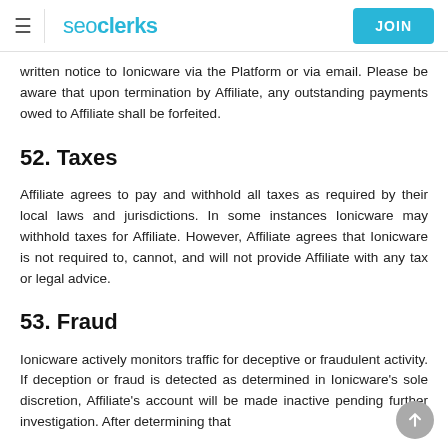seoclerks | JOIN
written notice to Ionicware via the Platform or via email. Please be aware that upon termination by Affiliate, any outstanding payments owed to Affiliate shall be forfeited.
52. Taxes
Affiliate agrees to pay and withhold all taxes as required by their local laws and jurisdictions. In some instances Ionicware may withhold taxes for Affiliate. However, Affiliate agrees that Ionicware is not required to, cannot, and will not provide Affiliate with any tax or legal advice.
53. Fraud
Ionicware actively monitors traffic for deceptive or fraudulent activity. If deception or fraud is detected as determined in Ionicware's sole discretion, Affiliate's account will be made inactive pending further investigation. After determining that